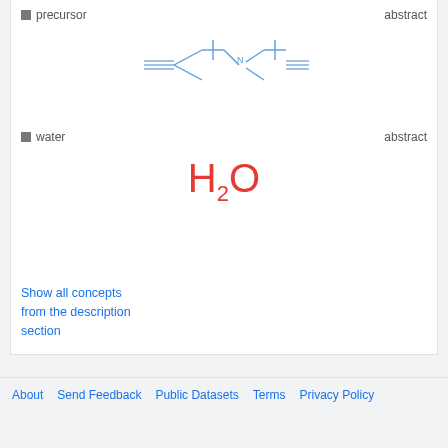[Figure (schematic): Chemical structure diagram of a precursor molecule with triple bond notations and carbon chain, drawn in blue line art style]
precursor
abstract
[Figure (schematic): Chemical formula H2O displayed in large red text with subscript 2]
water
abstract
Show all concepts from the description section
About   Send Feedback   Public Datasets   Terms
Privacy Policy